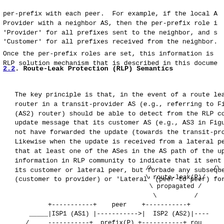per-prefix with each peer.  For example, if the local A
Provider with a neighbor AS, then the per-prefix role i
'Provider' for all prefixes sent to the neighbor, and s
'Customer' for all prefixes received from the neighbor.
Once the per-prefix roles are set, this information is
RLP solution mechanism that is described in this docume
2.2.  Route-Leak Protection (RLP) Semantics
The key principle is that, in the event of a route leak
router in a transit-provider AS (e.g., referring to Fig
(AS2) router) should be able to detect from the RLP com
update message that its customer AS (e.g., AS3 in Figur
not have forwarded the update (towards the transit-prov
Likewise when the update is received from a lateral pee
that at least one of the ASes in the AS path of the upd
information in RLP community to indicate that it sent t
its customer or lateral peer, but forbade any subsequen
(customer to provider) or 'Lateral' (peer to peer) forw
[Figure (engineering-diagram): Network diagram showing route-leak propagation between ISP1 (AS1) and ISP2 (AS2) with peer update and prefix routing annotations]